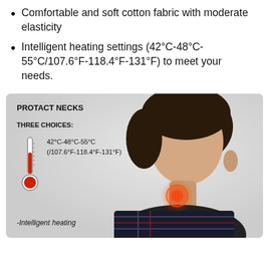Comfortable and soft cotton fabric with moderate elasticity
Intelligent heating settings (42°C-48°C-55°C/107.6°F-118.4°F-131°F) to meet your needs.
[Figure (photo): Product infographic showing a man's side profile with a heated neck pad. Overlay text shows PROTACT NECKS, THREE CHOICES, a thermometer icon, temperature range 42°C-48°C-55°C (/107.6°F-118.4°F-131°F), and -Intelligent heating label.]